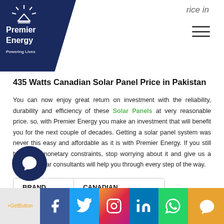rice in
[Figure (logo): Premier Energy logo — white text on dark navy blue background with sun/rays icon]
435 Watts Canadian Solar Panel Price in Pakistan
You can now enjoy great return on investment with the reliability, durability and efficiency of these Solar Panels at very reasonable price. so, with Premier Energy you make an investment that will benefit you for the next couple of decades. Getting a solar panel system was never this easy and affordable as it is with Premier Energy. If you still have any monetary constraints, stop worrying about it and give us a call. Our solar consultants will help you through every step of the way.
| BRAND | CANADIAN |
| --- | --- |
| MODEL | Ku Max CS3 W |
[Figure (other): Social media share bar at bottom with Facebook, Twitter, Instagram, LinkedIn, WhatsApp, chat icons]